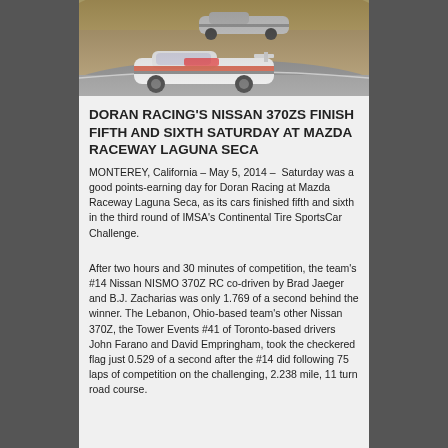[Figure (photo): Racing cars on a track at Mazda Raceway Laguna Seca, with a white Nissan 370Z in the foreground navigating a curve.]
DORAN RACING'S NISSAN 370ZS FINISH FIFTH AND SIXTH SATURDAY AT MAZDA RACEWAY LAGUNA SECA
MONTEREY, California – May 5, 2014 –  Saturday was a good points-earning day for Doran Racing at Mazda Raceway Laguna Seca, as its cars finished fifth and sixth in the third round of IMSA's Continental Tire SportsCar Challenge.
After two hours and 30 minutes of competition, the team's #14 Nissan NISMO 370Z RC co-driven by Brad Jaeger and B.J. Zacharias was only 1.769 of a second behind the winner. The Lebanon, Ohio-based team's other Nissan 370Z, the Tower Events #41 of Toronto-based drivers John Farano and David Empringham, took the checkered flag just 0.529 of a second after the #14 did following 75 laps of competition on the challenging, 2.238 mile, 11 turn road course.